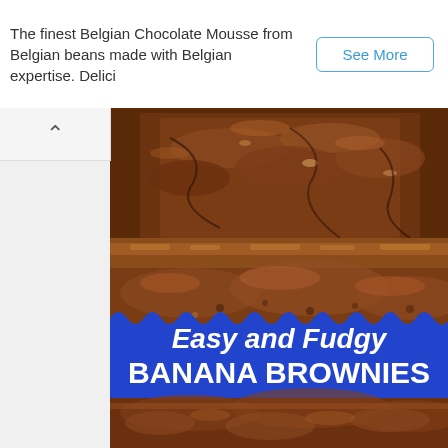The finest Belgian Chocolate Mousse from Belgian beans made with Belgian expertise. Delici
[Figure (photo): Close-up photo of fudgy chocolate brownies with a blue decorative banner overlay reading 'Easy and Fudgy BANANA BROWNIES']
Easy and Fudgy BANANA BROWNIES